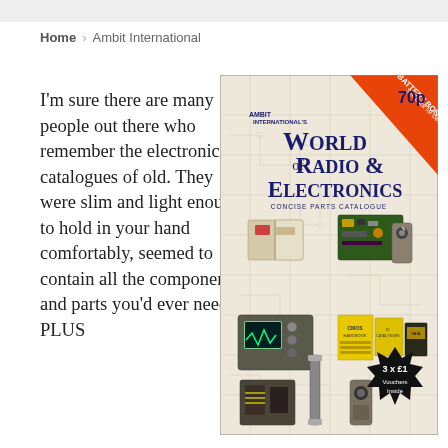Home > Ambit International
I'm sure there are many people out there who remember the electronics catalogues of old. They were slim and light enough to hold in your hand comfortably, seemed to contain all the components and parts you'd ever need, PLUS
[Figure (photo): Cover of Ambit International's 'World of Radio & Electronics Concise Parts Catalogue', priced 70p, with orange banner for NICAD Battery Bonanza, starburst badge saying '3 x £1 Vouchers Inside', and photos of various electronic components and equipment on a circuit diagram background.]